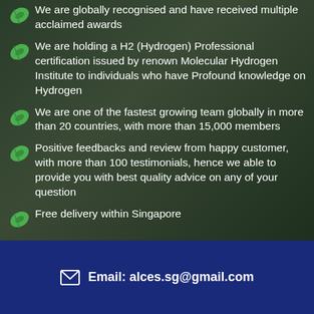We are globally recognised and have received multiple acclaimed awards
We are holding a H2 (Hydrogen) Professional certification issued by renown Molecular Hydrogen Institute to individuals who have Profound knowledge on Hydrogen
We are one of the fastest growing team globally in more than 20 countries, with more than 15,000 members
Positive feedbacks and review from happy customer, with more than 100 testimonials, hence we able to provide you with best quality advice on any of your question
Free delivery within Singapore
Email: alces.sg@gmail.com